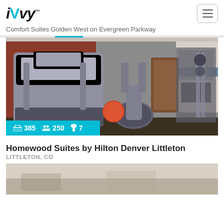iVvy
Comfort Suites Golden West on Evergreen Parkway
[Figure (photo): Hotel fitness center/gym with treadmill, elliptical machines, exercise bike, and weight equipment. Red accent wall visible. Precor branded elliptical in foreground. Stats overlay showing 385 rooms, 250 capacity, 7 meeting rooms.]
Homewood Suites by Hilton Denver Littleton
LITTLETON, CO
[Figure (photo): Partial view of hotel interior, light beige/cream tones visible at bottom of page.]